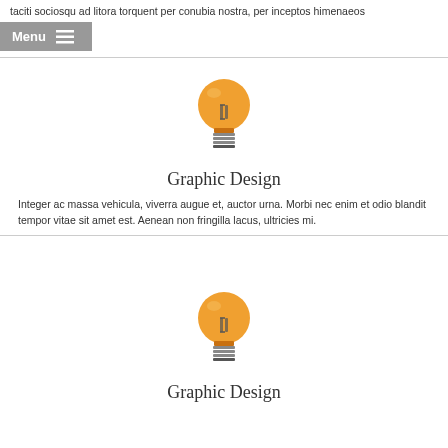taciti sociosqu ad litora torquent per conubia nostra, per inceptos himenaeos
Menu ☰
[Figure (illustration): Orange lightbulb icon centered on white background]
Graphic Design
Integer ac massa vehicula, viverra augue et, auctor urna. Morbi nec enim et odio blandit tempor vitae sit amet est. Aenean non fringilla lacus, ultricies mi.
[Figure (illustration): Orange lightbulb icon centered on white background]
Graphic Design